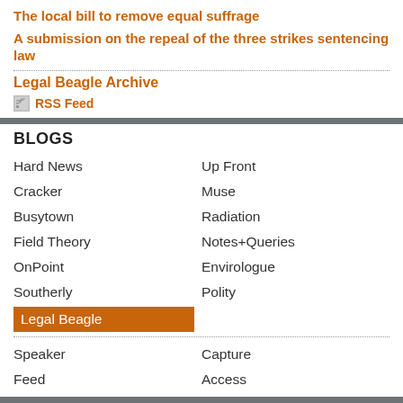The local bill to remove equal suffrage
A submission on the repeal of the three strikes sentencing law
Legal Beagle Archive
RSS Feed
BLOGS
Hard News
Up Front
Cracker
Muse
Busytown
Radiation
Field Theory
Notes+Queries
OnPoint
Envirologue
Southerly
Polity
Legal Beagle
Speaker
Capture
Feed
Access
Access Granted
Great New Zealand Argument
PA.System
PA.Radio